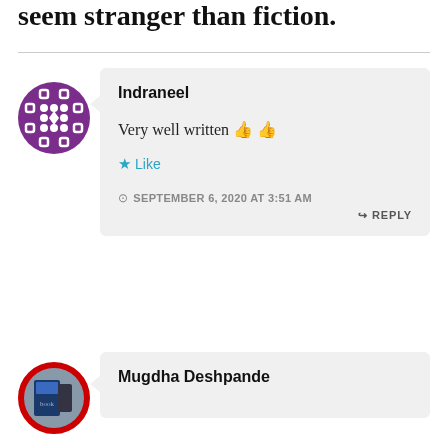seem stranger than fiction.
Indraneel
Very well written 👍👍
★ Like
⊙ SEPTEMBER 6, 2020 AT 3:51 AM
↪ REPLY
Mugdha Deshpande